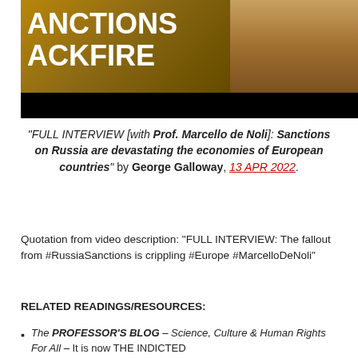[Figure (screenshot): YouTube video thumbnail showing large white text 'SANCTIONS BACKFIRE' overlaid on a golden/brown background with a person in a yellow bow tie visible on the right. A YouTube play button logo is visible at top right. A black progress bar is at the bottom.]
"FULL INTERVIEW [with Prof. Marcello de Noli]: Sanctions on Russia are devastating the economies of European countries" by George Galloway, 13 APR 2022.
Quotation from video description: "FULL INTERVIEW: The fallout from #RussiaSanctions is crippling #Europe #MarcelloDeNoli"
RELATED READINGS/RESOURCES:
The PROFESSOR'S BLOG – Science, Culture & Human Rights For All – It is now THE INDICTED